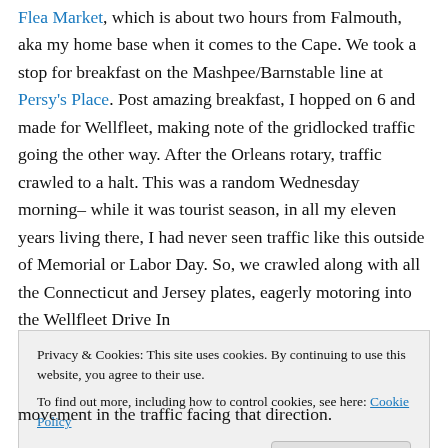Flea Market, which is about two hours from Falmouth, aka my home base when it comes to the Cape. We took a stop for breakfast on the Mashpee/Barnstable line at Persy's Place. Post amazing breakfast, I hopped on 6 and made for Wellfleet, making note of the gridlocked traffic going the other way. After the Orleans rotary, traffic crawled to a halt. This was a random Wednesday morning– while it was tourist season, in all my eleven years living there, I had never seen traffic like this outside of Memorial or Labor Day. So, we crawled along with all the Connecticut and Jersey plates, eagerly motoring into the Wellfleet Drive In
Privacy & Cookies: This site uses cookies. By continuing to use this website, you agree to their use.
To find out more, including how to control cookies, see here: Cookie Policy
movement in the traffic facing that direction.